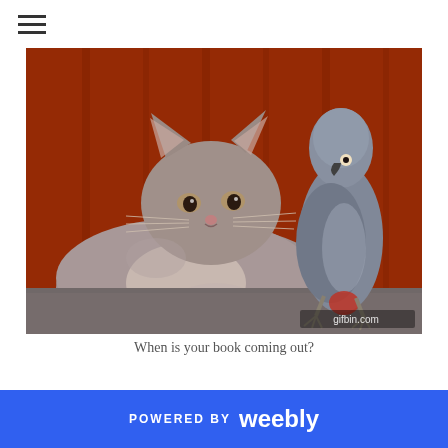☰ (hamburger menu icon)
[Figure (photo): A gray fluffy cat lying down with a skeptical/unimpressed expression, next to a gray African Grey parrot standing on a surface, against a red/orange curtain background. Watermark 'gifbin.com' visible in the lower right corner.]
When is your book coming out?
POWERED BY weebly